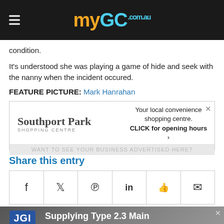[Figure (logo): myGC.com.au website header with hamburger menu icon and yellow/cyan logo]
condition.
It's understood she was playing a game of hide and seek with the nanny when the incident occured.
FEATURE PICTURE: Mark Hanrahan
[Figure (screenshot): Southport Park Shopping Centre advertisement banner: 'Your local convenience shopping centre. CLICK for opening hours' with close button. Bottom grey bar: 'WANT TO SEE YOUR BUSINESS ADVERTISED HERE?']
Share this entry
[Figure (infographic): Social share icons row: Facebook, Twitter, Pinterest, LinkedIn, Reddit, Email]
[Figure (screenshot): JGI advertisement: 'Supplying Type 2.3 Main Roads Spec Road Base!' with blue JGI logo on gravel background]